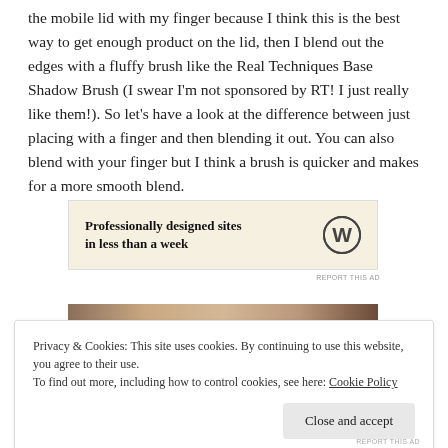the mobile lid with my finger because I think this is the best way to get enough product on the lid, then I blend out the edges with a fluffy brush like the Real Techniques Base Shadow Brush (I swear I'm not sponsored by RT! I just really like them!). So let's have a look at the difference between just placing with a finger and then blending it out. You can also blend with your finger but I think a brush is quicker and makes for a more smooth blend.
[Figure (other): WordPress advertisement banner with cream/beige background reading 'Professionally designed sites in less than a week' with WordPress logo on the right]
[Figure (photo): Partial photo strip showing what appears to be a close-up of skin/eye makeup in warm brown tones]
Privacy & Cookies: This site uses cookies. By continuing to use this website, you agree to their use.
To find out more, including how to control cookies, see here: Cookie Policy
Close and accept